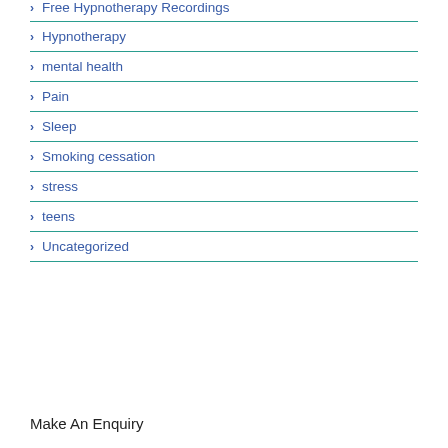Free Hypnotherapy Recordings
Hypnotherapy
mental health
Pain
Sleep
Smoking cessation
stress
teens
Uncategorized
Make An Enquiry